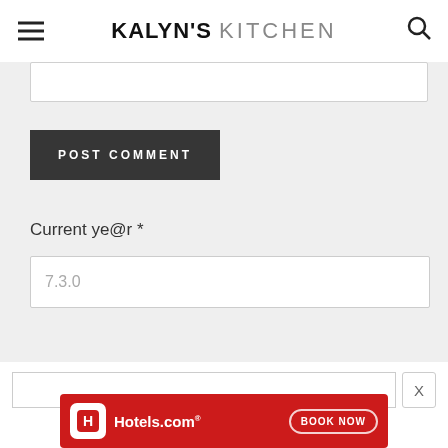KALYN'S KITCHEN
[Figure (screenshot): POST COMMENT button in dark gray with white uppercase text]
Current ye@r *
7.3.0
[Figure (screenshot): Hotels.com advertisement banner with red background, Hotels.com logo, and BOOK NOW button]